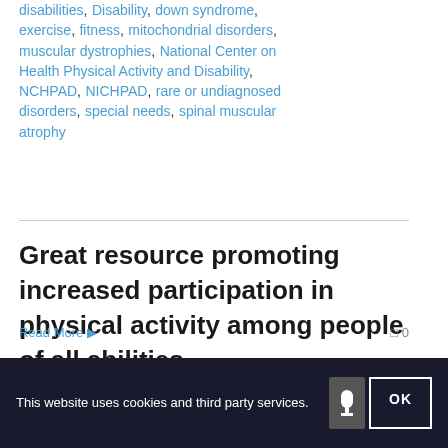disabilities, Disability, down syndrome, exercise, fitness, mitochondrial disorders, muscular dystrophies, National Center on Health Physical Activity and Disability, NCHPAD, NICHPAD, rare or undiagnosed disorders, special needs, spinal muscular atrophy
Great resource promoting increased participation in physical activity among people of all abilities.
Read More  ◯ 0
This website uses cookies and third party services.